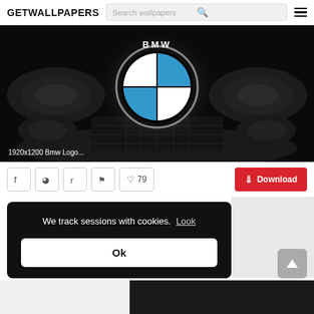GETWALLPAPERS
[Figure (screenshot): BMW car front with illuminated BMW logo in center on dark background. Caption: 1920x1200 Bmw Logo...]
1920x1200 Bmw Logo...
Social share icons (Facebook, Pinterest, Twitter, Flag), ♡ 79, Download button
We track sessions with cookies. Look
Ok